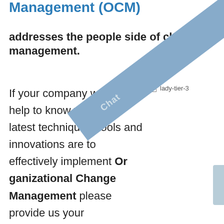Management (OCM)
addresses the people side of change management.
[Figure (other): Broken image placeholder labeled 'lady-tier-3']
[Figure (other): Blue diagonal chat ribbon overlay with Chat text and icon buttons (thumbtack, mail, phone)]
If your company would like help to know what the latest techniques, tools and innovations are to effectively implement Organizational Change Management please provide us your